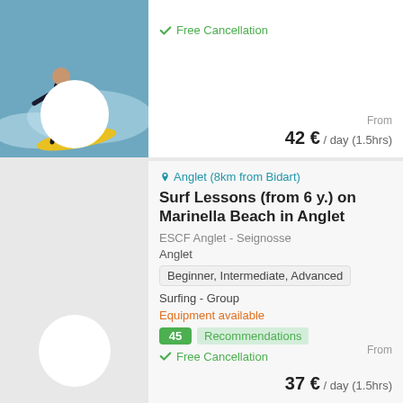Free Cancellation
From
42 € / day (1.5hrs)
Anglet (8km from Bidart)
Surf Lessons (from 6 y.) on Marinella Beach in Anglet
ESCF Anglet - Seignosse
Anglet
Beginner, Intermediate, Advanced
Surfing - Group
Equipment available
45 Recommendations
Free Cancellation
From
37 € / day (1.5hrs)